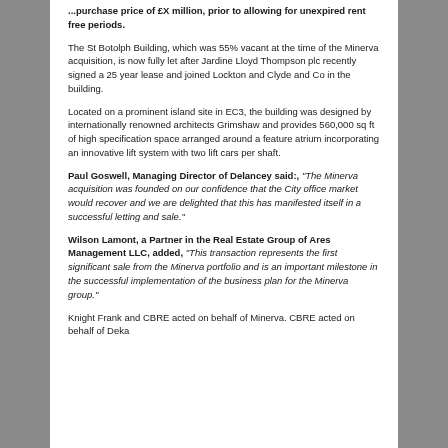...purchase price of £X million, prior to allowing for unexpired rent free periods.
The St Botolph Building, which was 55% vacant at the time of the Minerva acquisition, is now fully let after Jardine Lloyd Thompson plc recently signed a 25 year lease and joined Lockton and Clyde and Co in the building.
Located on a prominent island site in EC3, the building was designed by internationally renowned architects Grimshaw and provides 560,000 sq ft of high specification space arranged around a feature atrium incorporating an innovative lift system with two lift cars per shaft.
Paul Goswell, Managing Director of Delancey said:, "The Minerva acquisition was founded on our confidence that the City office market would recover and we are delighted that this has manifested itself in a successful letting and sale."
Wilson Lamont, a Partner in the Real Estate Group of Ares Management LLC, added, "This transaction represents the first significant sale from the Minerva portfolio and is an important milestone in the successful implementation of the business plan for the Minerva group."
Knight Frank and CBRE acted on behalf of Minerva. CBRE acted on behalf of Deka